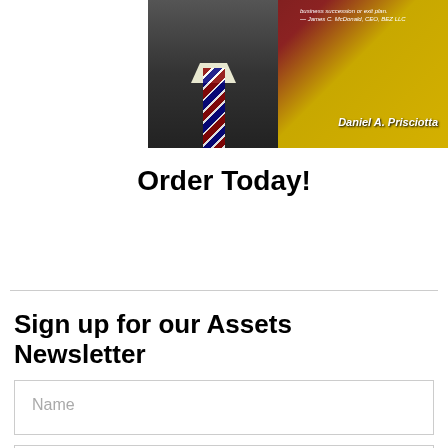[Figure (photo): Book cover photo showing Daniel A. Prisciotta in a dark suit and striped tie, against a dark red and gold background, with a quote at the top and the author name at the bottom right.]
Order Today!
Sign up for our Assets Newsletter
Name
Email